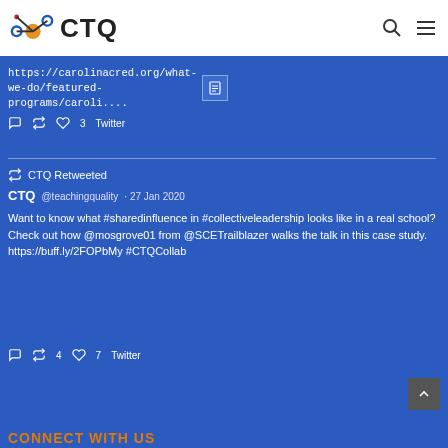CTQ
https://carolinacred.org/what-we-do/featured-programs/caroli....
reply retweet like 3 Twitter
CTQ Retweeted
CTQ @teachingquality · 27 Jan 2020
Want to know what #sharedinfluence in #collectiveleadership looks like in a real school? Check out how @mosgrove01 from @SCETrailblazer walks the talk in this case study. https://buff.ly/2FOPbMy #CTQCollab
reply retweet 4 like 7 Twitter
CONNECT WITH US